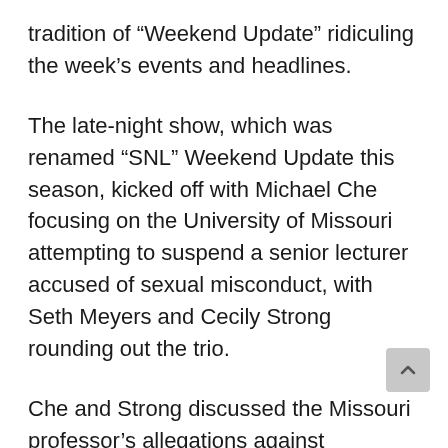tradition of “Weekend Update” ridiculing the week’s events and headlines.
The late-night show, which was renamed “SNL” Weekend Update this season, kicked off with Michael Che focusing on the University of Missouri attempting to suspend a senior lecturer accused of sexual misconduct, with Seth Meyers and Cecily Strong rounding out the trio.
Che and Strong discussed the Missouri professor’s allegations against “academic freedom,” including her thesis assertion that